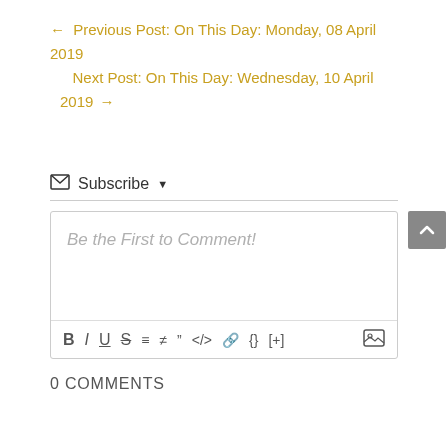← Previous Post: On This Day: Monday, 08 April 2019
Next Post: On This Day: Wednesday, 10 April 2019 →
✉ Subscribe ▾
[Figure (screenshot): Comment text editor box with placeholder text 'Be the First to Comment!' and a formatting toolbar with buttons: B, I, U, S, ordered list, unordered list, blockquote, code, link, {}, [+], and image icon]
0 COMMENTS